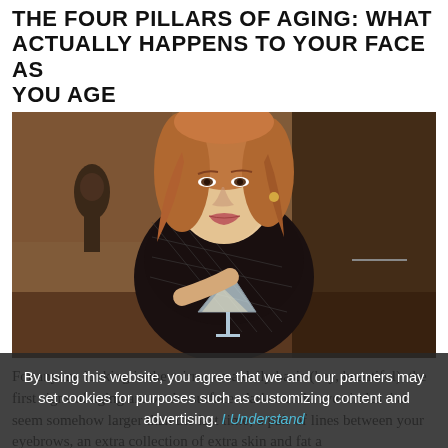ACTUALLY HAPPENS TO YOUR FACE AS YOU AGE
[Figure (photo): Elegant older woman with auburn hair, wearing a black mesh top, holding a martini glass, seated in a dark interior setting with a statue visible in the background.]
For anyone looking in the mirror on a daily basis (hey, beautiful), the first signs of aging are on the surface: darker undereye circles that seem somehow larger than the last time; a pair of lines between your eyebrows, an extra collection of extra skin and fat a...
By using this website, you agree that we and our partners may set cookies for purposes such as customizing content and advertising. I Understand